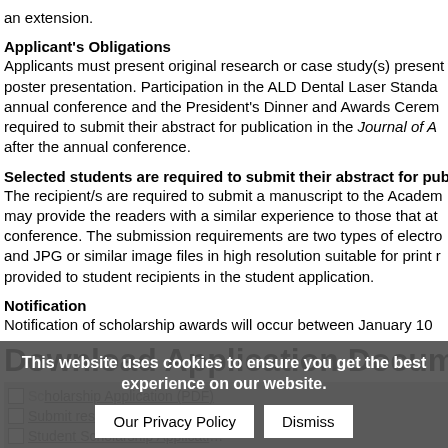an extension.
Applicant's Obligations
Applicants must present original research or case study(s) present poster presentation. Participation in the ALD Dental Laser Standa annual conference and the President's Dinner and Awards Cerem required to submit their abstract for publication in the Journal of A after the annual conference.
Selected students are required to submit their abstract for publ
The recipient/s are required to submit a manuscript to the Academ may provide the readers with a similar experience to those that at conference. The submission requirements are two types of electro and JPG or similar image files in high resolution suitable for print r provided to student recipients in the student application.
Notification
Notification of scholarship awards will occur between January 10
Download Application Documents & Broc
Scholarship Application (PDF)
Submit research application here
Student Scholarship Application